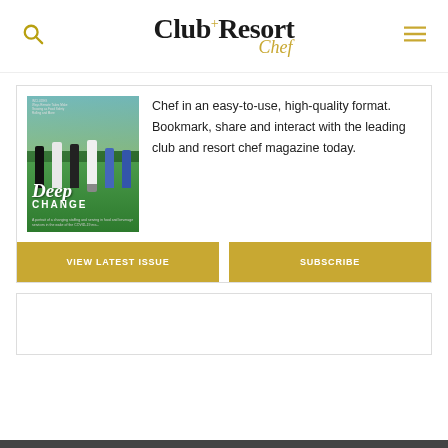Club+Resort Chef
[Figure (photo): Magazine cover showing 'Deep Change' issue with group of people on a golf course/green outdoor setting]
Chef in an easy-to-use, high-quality format. Bookmark, share and interact with the leading club and resort chef magazine today.
[Figure (other): Two golden buttons: VIEW LATEST ISSUE and SUBSCRIBE]
[Figure (other): Empty white card section below the main card]